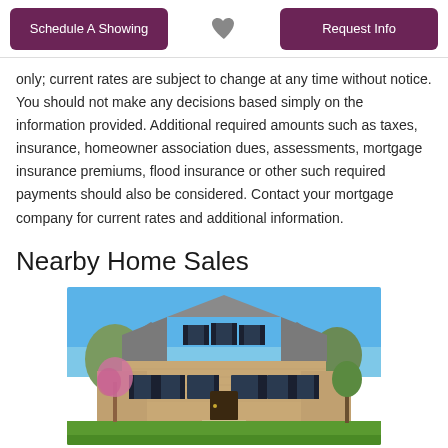Schedule A Showing | [heart] | Request Info
only; current rates are subject to change at any time without notice. You should not make any decisions based simply on the information provided. Additional required amounts such as taxes, insurance, homeowner association dues, assessments, mortgage insurance premiums, flood insurance or other such required payments should also be considered. Contact your mortgage company for current rates and additional information.
Nearby Home Sales
[Figure (photo): Exterior photo of a large brick colonial-style home with a steep gray roof, black shutters, multiple gables, a circular driveway path, flowering trees, and a lush green lawn under a bright blue sky.]